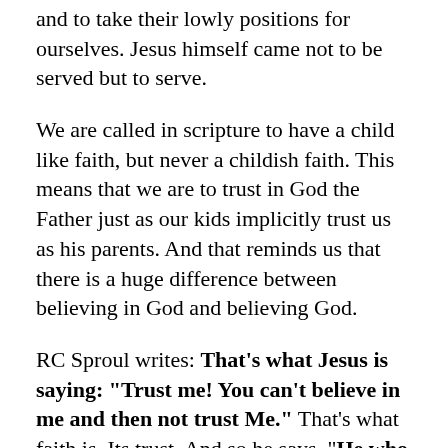and to take their lowly positions for ourselves. Jesus himself came not to be served but to serve.
We are called in scripture to have a child like faith, but never a childish faith. This means that we are to trust in God the Father just as our kids implicitly trust us as his parents. And that reminds us that there is a huge difference between believing in God and believing God.
RC Sproul writes: That's what Jesus is saying: "Trust me! You can't believe in me and then not trust Me." That's what faith is. Its trust. And so he says, "He who is least among you all," —by which he means he who is most